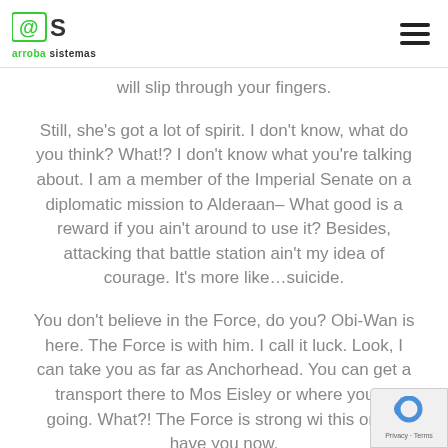arroba sistemas
will slip through your fingers.
Still, she's got a lot of spirit. I don't know, what do you think? What!? I don't know what you're talking about. I am a member of the Imperial Senate on a diplomatic mission to Alderaan– What good is a reward if you ain't around to use it? Besides, attacking that battle station ain't my idea of courage. It's more like…suicide.
You don't believe in the Force, do you? Obi-Wan is here. The Force is with him. I call it luck. Look, I can take you as far as Anchorhead. You can get a transport there to Mos Eisley or where you're going. What?! The Force is strong with this one. I have you now.